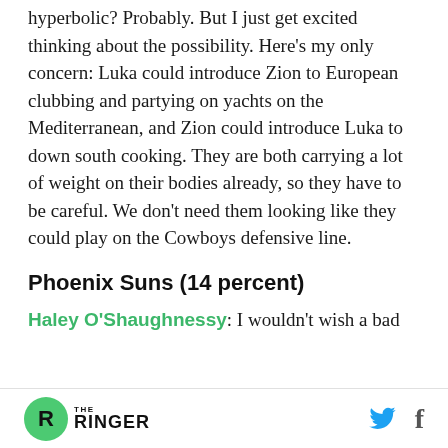hyperbolic? Probably. But I just get excited thinking about the possibility. Here’s my only concern: Luka could introduce Zion to European clubbing and partying on yachts on the Mediterranean, and Zion could introduce Luka to down south cooking. They are both carrying a lot of weight on their bodies already, so they have to be careful. We don’t need them looking like they could play on the Cowboys defensive line.
Phoenix Suns (14 percent)
Haley O’Shaughnessy: I wouldn’t wish a bad
THE RINGER